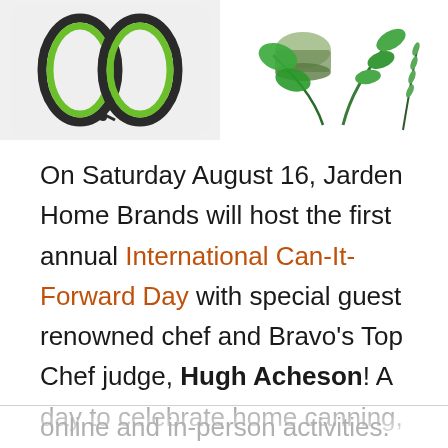[Figure (photo): Kitchen tool with green handles on white background]
[Figure (photo): Fresh herbs including rosemary and basil on white background]
On Saturday August 16, Jarden Home Brands will host the first annual International Can-It-Forward Day with special guest renowned chef and Bravo's Top Chef judge, Hugh Acheson! A day to celebrate home canning, International Can-It-Forward Day allows food enthusiasts to connect via a variety of online and in-person activities.